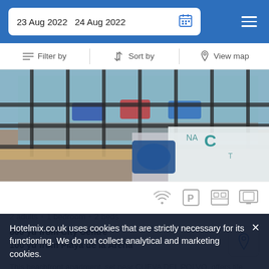23 Aug 2022   24 Aug 2022
Filter by   Sort by   View map
[Figure (photo): Balcony/terrace of a beachfront apartment with railing view, chairs, and a patterned tablecloth]
2 adults · 1 bedroom · 2 beds
800 yd from City Centre
100 yd from Playa de la Arena
This beachfront apartment, set near CUEVA DEL POLVO, offers tile flooring and a kitchen.
Hotelmix.co.uk uses cookies that are strictly necessary for its functioning. We do not collect analytical and marketing cookies.